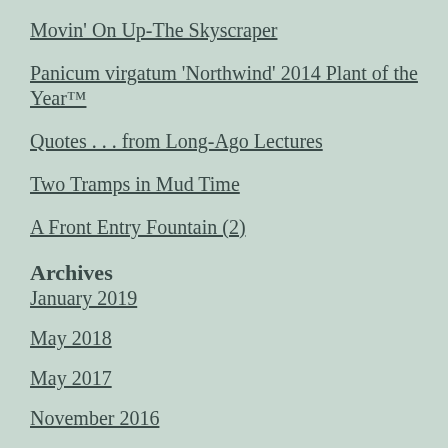Movin' On Up-The Skyscraper
Panicum virgatum 'Northwind' 2014 Plant of the Year™
Quotes . . . from Long-Ago Lectures
Two Tramps in Mud Time
A Front Entry Fountain (2)
Archives
January 2019
May 2018
May 2017
November 2016
August 2016